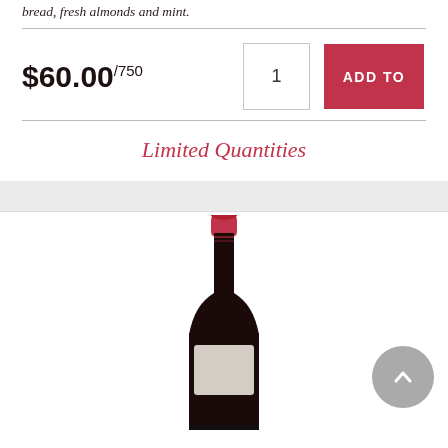bread, fresh almonds and mint.
$60.00/750
Limited Quantities
[Figure (photo): Red wine bottle with dark label and red foil cap, shown from neck down]